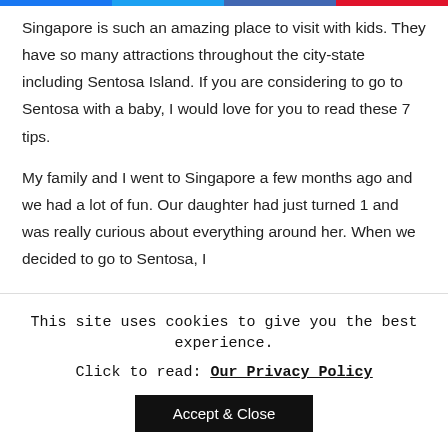[Navigation bar with colored segments: blue, light-blue, dark-blue, red]
Singapore is such an amazing place to visit with kids. They have so many attractions throughout the city-state including Sentosa Island. If you are considering to go to Sentosa with a baby, I would love for you to read these 7 tips.
My family and I went to Singapore a few months ago and we had a lot of fun. Our daughter had just turned 1 and was really curious about everything around her. When we decided to go to Sentosa, I
This site uses cookies to give you the best experience.
Click to read: Our Privacy Policy
Accept & Close